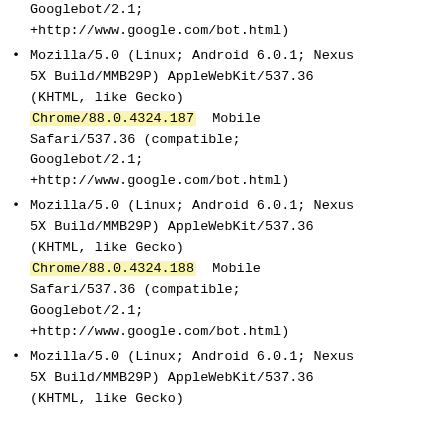Googlebot/2.1;
+http://www.google.com/bot.html)
Mozilla/5.0 (Linux; Android 6.0.1; Nexus 5X Build/MMB29P) AppleWebKit/537.36 (KHTML, like Gecko) Chrome/88.0.4324.187 Mobile Safari/537.36 (compatible; Googlebot/2.1; +http://www.google.com/bot.html)
Mozilla/5.0 (Linux; Android 6.0.1; Nexus 5X Build/MMB29P) AppleWebKit/537.36 (KHTML, like Gecko) Chrome/88.0.4324.188 Mobile Safari/537.36 (compatible; Googlebot/2.1; +http://www.google.com/bot.html)
Mozilla/5.0 (Linux; Android 6.0.1; Nexus 5X Build/MMB29P) AppleWebKit/537.36 (KHTML, like Gecko)